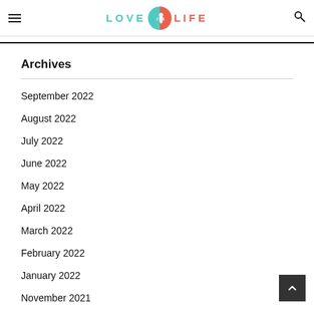LOVE LIFE (logo with icon)
Archives
September 2022
August 2022
July 2022
June 2022
May 2022
April 2022
March 2022
February 2022
January 2022
November 2021
August 2021